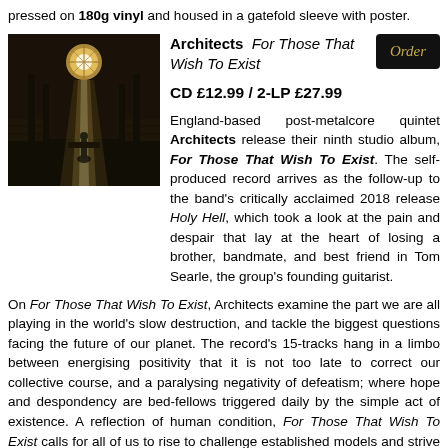pressed on 180g vinyl and housed in a gatefold sleeve with poster.
[Figure (photo): Album cover photo showing a lone figure standing in a grand church interior with dramatic light rays streaming through a rose window]
Architects For Those That Wish To Exist
Order
CD £12.99 / 2-LP £27.99
England-based post-metalcore quintet Architects release their ninth studio album, For Those That Wish To Exist. The self-produced record arrives as the follow-up to the band's critically acclaimed 2018 release Holy Hell, which took a look at the pain and despair that lay at the heart of losing a brother, bandmate, and best friend in Tom Searle, the group's founding guitarist.
On For Those That Wish To Exist, Architects examine the part we are all playing in the world's slow destruction, and tackle the biggest questions facing the future of our planet. The record's 15-tracks hang in a limbo between energising positivity that it is not too late to correct our collective course, and a paralysing negativity of defeatism; where hope and despondency are bed-fellows triggered daily by the simple act of existence. A reflection of human condition, For Those That Wish To Exist calls for all of us to rise to challenge established models and strive for a collective betterment.
“This album was me looking at our inability to change to a way of life that would sustain the human race and save the planet,” summarises principal songwriter Dan Searle. “I wanted to look in the mirror and ask